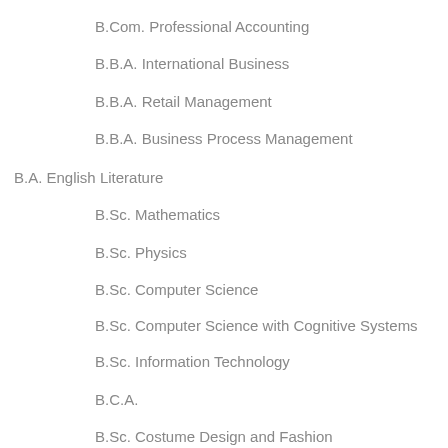B.Com. Professional Accounting
B.B.A. International Business
B.B.A. Retail Management
B.B.A. Business Process Management
B.A. English Literature
B.Sc. Mathematics
B.Sc. Physics
B.Sc. Computer Science
B.Sc. Computer Science with Cognitive Systems
B.Sc. Information Technology
B.C.A.
B.Sc. Costume Design and Fashion